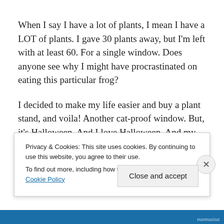When I say I have a lot of plants, I mean I have a LOT of plants. I gave 30 plants away, but I'm left with at least 60. For a single window. Does anyone see why I might have procrastinated on eating this particular frog?
I decided to make my life easier and buy a plant stand, and voila! Another cat-proof window. But, it's Halloween. And I love Halloween. And my husband found the decorations. And it looks SO GOOD!
Privacy & Cookies: This site uses cookies. By continuing to use this website, you agree to their use.
To find out more, including how to control cookies, see here: Cookie Policy